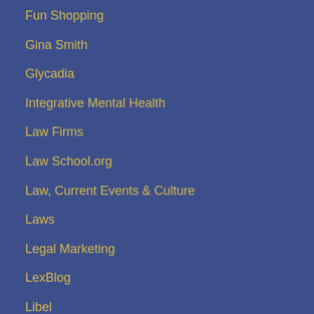Fun Shopping
Gina Smith
Glycadia
Integrative Mental Health
Law Firms
Law School.org
Law, Current Events & Culture
Laws
Legal Marketing
LexBlog
Libel